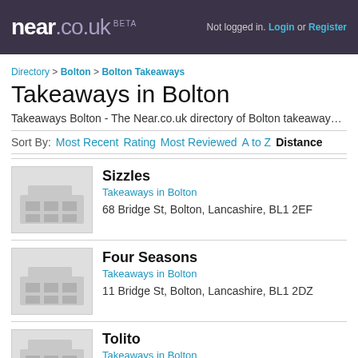near.co.uk BETA — Not logged in. Login or Register
Directory > Bolton > Bolton Takeaways
Takeaways in Bolton
Takeaways Bolton - The Near.co.uk directory of Bolton takeaways l...
Sort By: Most Recent  Rating  Most Reviewed  A to Z  Distance
Sizzles
Takeaways in Bolton
68 Bridge St, Bolton, Lancashire, BL1 2EF
Four Seasons
Takeaways in Bolton
11 Bridge St, Bolton, Lancashire, BL1 2DZ
Tolito
Takeaways in Bolton